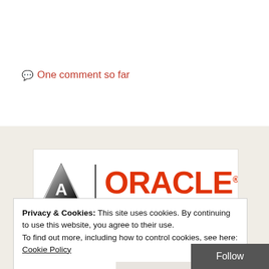One comment so far
[Figure (logo): Accenture triangle logo and Oracle logo side by side with vertical divider]
Privacy & Cookies: This site uses cookies. By continuing to use this website, you agree to their use. To find out more, including how to control cookies, see here: Cookie Policy
Close and accept
Follow